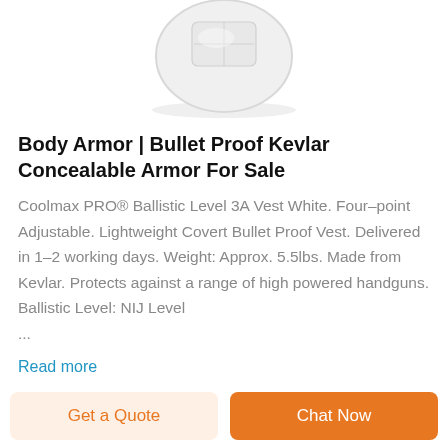[Figure (photo): White bullet proof vest / body armor product photo, shown from above on white background]
Body Armor | Bullet Proof Kevlar Concealable Armor For Sale
Coolmax PRO® Ballistic Level 3A Vest White. Four-point Adjustable. Lightweight Covert Bullet Proof Vest. Delivered in 1–2 working days. Weight: Approx. 5.5lbs. Made from Kevlar. Protects against a range of high powered handguns. Ballistic Level: NIJ Level ...
Read more